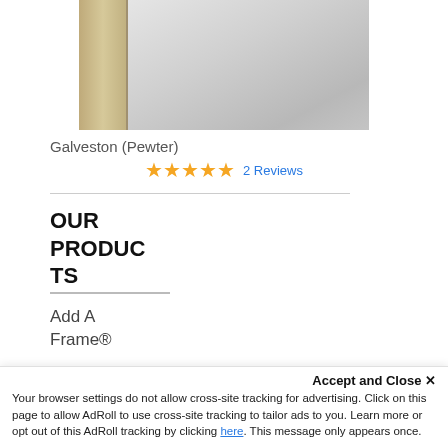[Figure (photo): Product photo of a mirror with wood/pewter frame, partially cropped at top]
Galveston (Pewter)
★★★★★ 2 Reviews
OUR PRODUCTS
Add A Frame®
Framed
Accept and Close ✕ Your browser settings do not allow cross-site tracking for advertising. Click on this page to allow AdRoll to use cross-site tracking to tailor ads to you. Learn more or opt out of this AdRoll tracking by clicking here. This message only appears once.